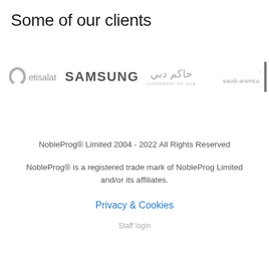Some of our clients
[Figure (logo): Row of client logos: Etisalat, Samsung, Government of Dubai, Saudi Aramco]
NobleProg® Limited 2004 - 2022 All Rights Reserved
NobleProg® is a registered trade mark of NobleProg Limited and/or its affiliates.
Privacy & Cookies
Staff login